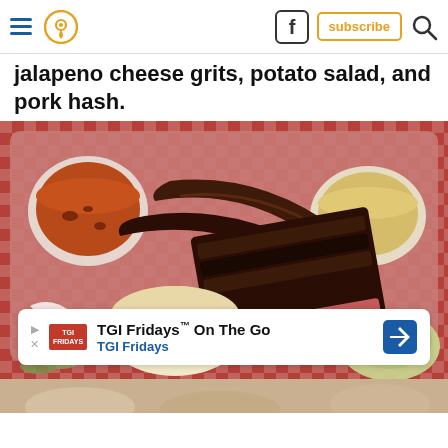Navigation header with hamburger menu, location pin, Facebook icon, subscribe button, and search icon
jalapeno cheese grits, potato salad, and pork hash.
[Figure (photo): Overhead view of a BBQ tray on a red and white checkered tablecloth, containing brisket slices, sausage links, a cup of beans/chili, a cup of jalapeno cheese grits, white bread rolls, sliced onions, pickles, and a side salad.]
TGI Fridays™ On The Go
TGI Fridays